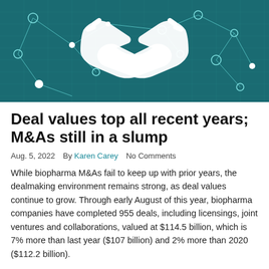[Figure (illustration): Teal/dark teal background with network graph nodes and lines, overlaid with a white handshake icon in the center]
Deal values top all recent years; M&As still in a slump
Aug. 5, 2022   By Karen Carey   No Comments
While biopharma M&As fail to keep up with prior years, the dealmaking environment remains strong, as deal values continue to grow. Through early August of this year, biopharma companies have completed 955 deals, including licensings, joint ventures and collaborations, valued at $114.5 billion, which is 7% more than last year ($107 billion) and 2% more than 2020 ($112.2 billion).